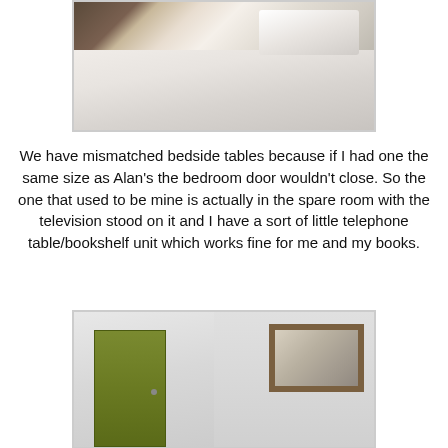[Figure (photo): Photo of a bed with white/grey duvet and patterned bedding, with a wooden bedside table visible on the left]
We have mismatched bedside tables because if I had one the same size as Alan's the bedroom door wouldn't close. So the one that used to be mine is actually in the spare room with the television stood on it and I have a sort of little telephone table/bookshelf unit which works fine for me and my books.
[Figure (photo): Photo of a room interior showing a green painted door on the left and a framed picture hanging on the white wall to the right]